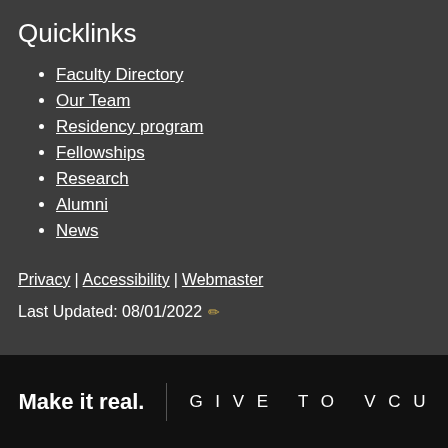Quicklinks
Faculty Directory
Our Team
Residency program
Fellowships
Research
Alumni
News
Privacy | Accessibility | Webmaster
Last Updated: 08/01/2022
Make it real. | GIVE TO VCU